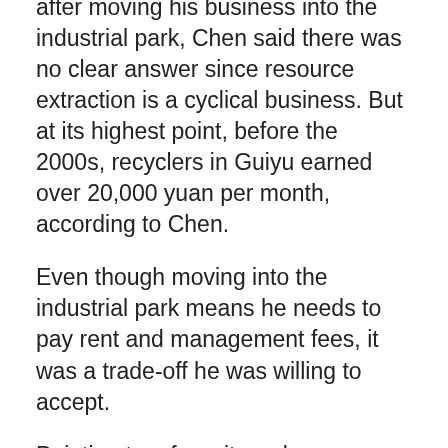after moving his business into the industrial park, Chen said there was no clear answer since resource extraction is a cyclical business. But at its highest point, before the 2000s, recyclers in Guiyu earned over 20,000 yuan per month, according to Chen.
Even though moving into the industrial park means he needs to pay rent and management fees, it was a trade-off he was willing to accept.
Pointing to a few sites where residents washed burned circuit boards with acid, he said there were once no fish in the town's lifeless rivers. Now, as he spoke, a white crane flew over the river.